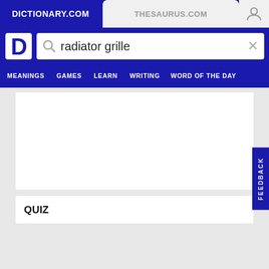DICTIONARY.COM | THESAURUS.COM
[Figure (screenshot): Dictionary.com website header with logo, search bar containing 'radiator grille', navigation menu with MEANINGS, GAMES, LEARN, WRITING, WORD OF THE DAY]
QUIZ
FEEDBACK